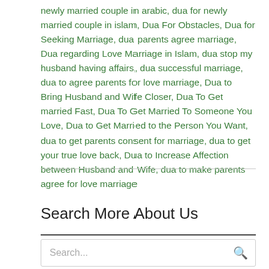newly married couple in arabic, dua for newly married couple in islam, Dua For Obstacles, Dua for Seeking Marriage, dua parents agree marriage, Dua regarding Love Marriage in Islam, dua stop my husband having affairs, dua successful marriage, dua to agree parents for love marriage, Dua to Bring Husband and Wife Closer, Dua To Get married Fast, Dua To Get Married To Someone You Love, Dua to Get Married to the Person You Want, dua to get parents consent for marriage, dua to get your true love back, Dua to Increase Affection between Husband and Wife, dua to make parents agree for love marriage
Search More About Us